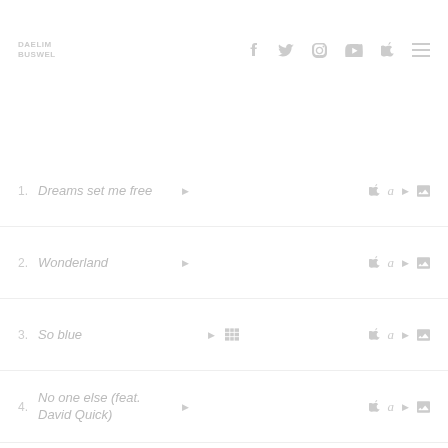DAELIM BUSWEL — navigation header with logo and social icons
1. Dreams set me free
2. Wonderland
3. So blue
4. No one else (feat. David Quick)
5. Makers of love